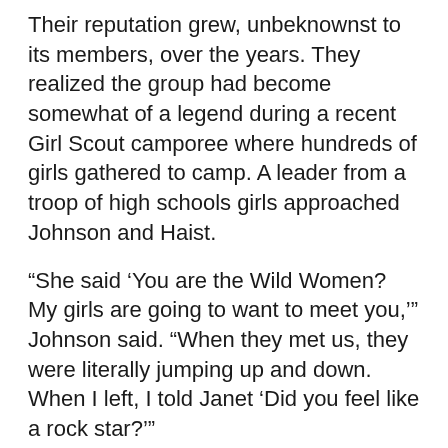Their reputation grew, unbeknownst to its members, over the years. They realized the group had become somewhat of a legend during a recent Girl Scout camporee where hundreds of girls gathered to camp. A leader from a troop of high schools girls approached Johnson and Haist.
“She said ‘You are the Wild Women? My girls are going to want to meet you,’” Johnson said. “When they met us, they were literally jumping up and down. When I left, I told Janet ‘Did you feel like a rock star?’”
And while they may not be rock stars, these wild women were the trailblazers for the future generation of Girl Scouts, almost all of them becoming leaders. Among them are two doctors, a lawyer, librarians, educators and most famously Janet Napolitano, who served as governor of Arizona and secretary of Homeland Security. The women are a representation of